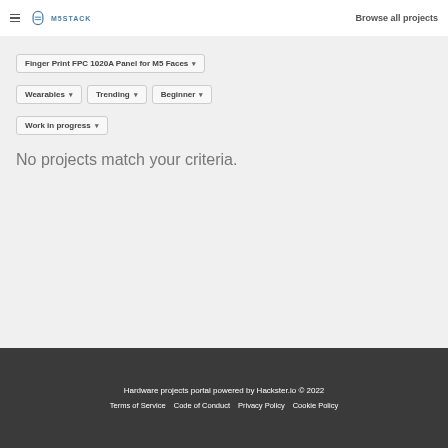M5STACK | Browse all projects
Finger Print FPC 1020A Panel for M5 Faces ▾
Wearables ▾
Trending ▾
Beginner ▾
Work in progress ▾
No projects match your criteria.
Hardware projects portal powered by Hackster.io © 2022
Terms of Service   Code of Conduct   Privacy Policy   Cookie Policy